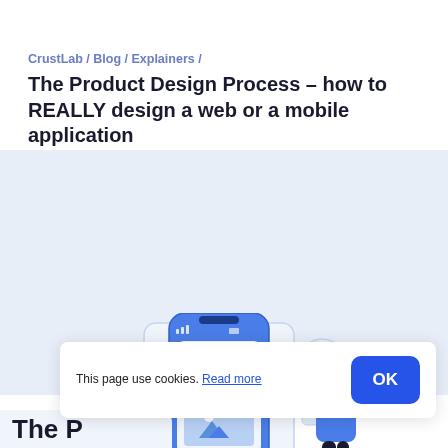CrustLab / Blog / Explainers /
The Product Design Process – how to REALLY design a web or a mobile application
[Figure (illustration): Illustration of a person interacting with a large smartphone showing app UI elements including a profile card, image placeholder, map, and design tools on a light blue background]
This page use cookies. Read more
OK
The P...